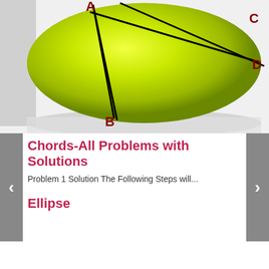[Figure (illustration): A yellow-green sphere (circle) with two intersecting chords drawn as black lines. Points A and B label one chord (A at top, B at bottom-left), and points C and D label another chord (C at top-right, D at right). The labels are in dark red.]
Chords-All Problems with Solutions
Problem 1 Solution The Following Steps will...
Ellipse